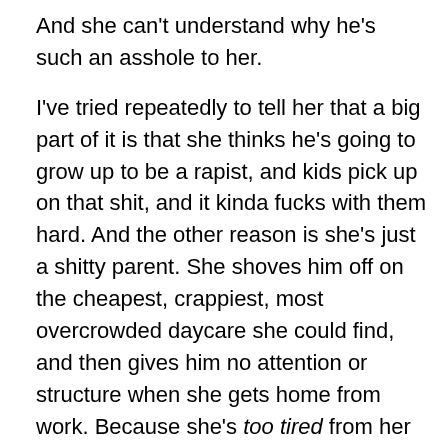And she can't understand why he's such an asshole to her.
I've tried repeatedly to tell her that a big part of it is that she thinks he's going to grow up to be a rapist, and kids pick up on that shit, and it kinda fucks with them hard. And the other reason is she's just a shitty parent. She shoves him off on the cheapest, crappiest, most overcrowded daycare she could find, and then gives him no attention or structure when she gets home from work. Because she's too tired from her job. The poor dear.
But no, that's fine. Her financial security is more important to her than her child's mental and emotional well-being. He's going to end up in prison, or a sociopath, or, in the best-case scenario, with major, crippling intimacy issues, but she can afford to get her hair done as often as she